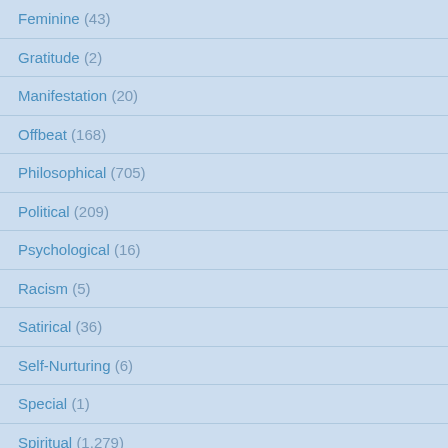Feminine (43)
Gratitude (2)
Manifestation (20)
Offbeat (168)
Philosophical (705)
Political (209)
Psychological (16)
Racism (5)
Satirical (36)
Self-Nurturing (6)
Special (1)
Spiritual (1,279)
Uncategorized (40)